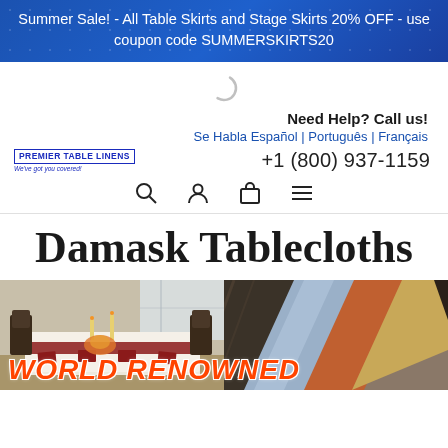Summer Sale! - All Table Skirts and Stage Skirts 20% OFF - use coupon code SUMMERSKIRTS20
[Figure (other): Loading spinner arc icon]
Need Help? Call us!
Se Habla Español | Português | Français
[Figure (logo): Premier Table Linens logo]
+1 (800) 937-1159
[Figure (other): Navigation icons: search, account, cart, menu]
Damask Tablecloths
[Figure (photo): Two product images side by side: left shows a formally set dining table with white damask tablecloth, red napkins, candles and floral centerpiece; right shows diagonal fabric swatches in silver-blue, copper/red, gold/tan, and dark patterns. Text overlay reads WORLD RENOWNED in orange/red.]